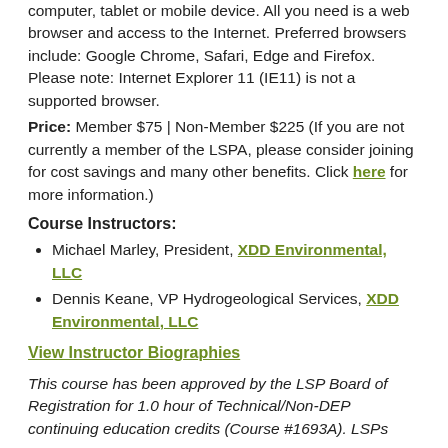computer, tablet or mobile device. All you need is a web browser and access to the Internet. Preferred browsers include: Google Chrome, Safari, Edge and Firefox. Please note: Internet Explorer 11 (IE11) is not a supported browser.
Price: Member $75 | Non-Member $225 (If you are not currently a member of the LSPA, please consider joining for cost savings and many other benefits. Click here for more information.)
Course Instructors:
Michael Marley, President, XDD Environmental, LLC
Dennis Keane, VP Hydrogeological Services, XDD Environmental, LLC
View Instructor Biographies
This course has been approved by the LSP Board of Registration for 1.0 hour of Technical/Non-DEP continuing education credits (Course #1693A). LSPs